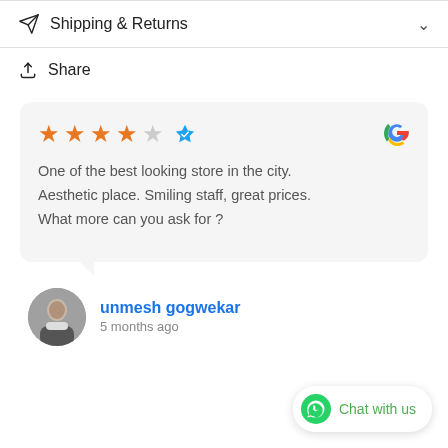Shipping & Returns
Share
[Figure (other): Google review card with 4 out of 5 star rating and verified badge. Review text: One of the best looking store in the city. Aesthetic place. Smiling staff, great prices. What more can you ask for ?]
unmesh gogwekar
5 months ago
Chat with us